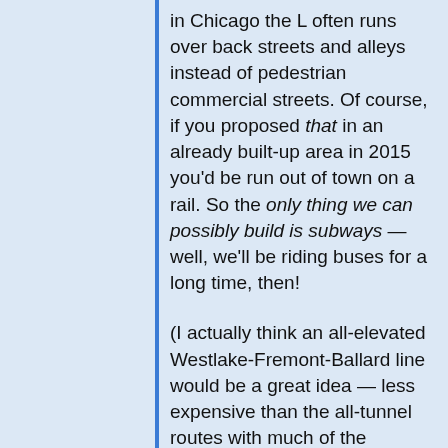in Chicago the L often runs over back streets and alleys instead of pedestrian commercial streets. Of course, if you proposed that in an already built-up area in 2015 you'd be run out of town on a rail. So the only thing we can possibly build is subways — well, we'll be riding buses for a long time, then!
(I actually think an all-elevated Westlake-Fremont-Ballard line would be a great idea — less expensive than the all-tunnel routes with much of the connectivity. Many permutations of details would satisfy me. The same is basically true here, there would be multiple good ways to build an elevated train within West Seattle, but the bridge is more